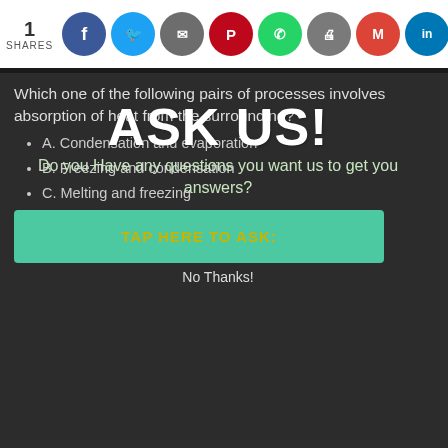1 SHARES — social share icons: Facebook, Twitter, Link, Pinterest, WhatsApp, Print, Gmail, LinkedIn, Google
Which one of the following pairs of processes involves absorption of heat from the surrounding?
A. Condensation and evaporation
B. Freezing and condensation
C. Melting and freezing
D. Evaporation and melting
[Figure (infographic): ASK US! popup overlay with text 'Do you Have any questions you want us to get you answers?', a teal 'TAP HERE TO ASK:' button, and a 'No Thanks!' dismiss link]
Question 25.
The diagram below shows the beak of a certain bird.
[Figure (illustration): Partial illustration of a bird's beak/head, dark outline on dark background]